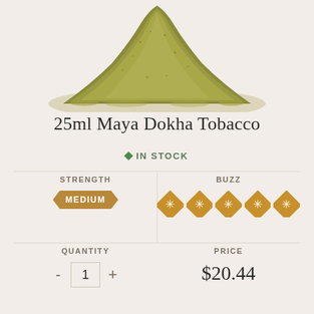[Figure (photo): Mound/pile of green-brown powdered tobacco on a cream background]
25ml Maya Dokha Tobacco
◆ IN STOCK
STRENGTH
MEDIUM
BUZZ
5 star icons
QUANTITY
1
PRICE
$20.44